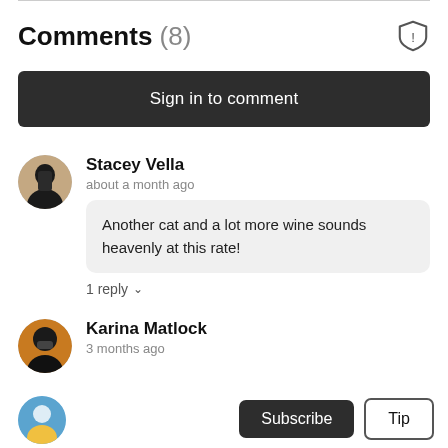Comments (8)
Sign in to comment
Stacey Vella
about a month ago
Another cat and a lot more wine sounds heavenly at this rate!
1 reply
Karina Matlock
3 months ago